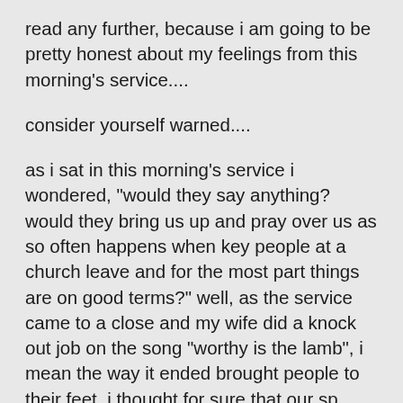read any further, because i am going to be pretty honest about my feelings from this morning’s service....
consider yourself warned....
as i sat in this morning’s service i wondered, “would they say anything? would they bring us up and pray over us as so often happens when key people at a church leave and for the most part things are on good terms?” well, as the service came to a close and my wife did a knock out job on the song “worthy is the lamb”, i mean the way it ended brought people to their feet, i thought for sure that our sp would say something. and all he said was “wow, kim, that was a great way to end things.”